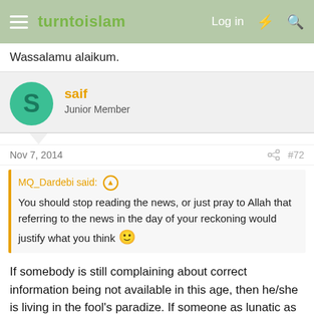turntoislam — Log in
Wassalamu alaikum.
saif — Junior Member
Nov 7, 2014 #72
MQ_Dardebi said: You should stop reading the news, or just pray to Allah that referring to the news in the day of your reckoning would justify what you think 🙂
If somebody is still complaining about correct information being not available in this age, then he/she is living in the fool's paradize. If someone as lunatic as you can make an account here and upload videos, Mr. Baghdadi can do that too.